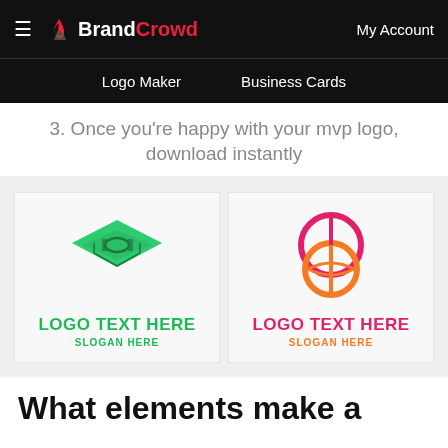BrandCrowd — Logo Maker | Business Cards | My Account
3. Once you're happy with your mvp logo, download instantly
[Figure (logo): Two green sports-field / letter logo cards side by side. Left card: green isometric basketball court logo with LOGO TEXT HERE in green bold and SLOGAN HERE in green. Right card: pink-to-orange circular basketball/sports logo with LOGO TEXT HERE in pink bold and SLOGAN HERE in orange.]
What elements make a